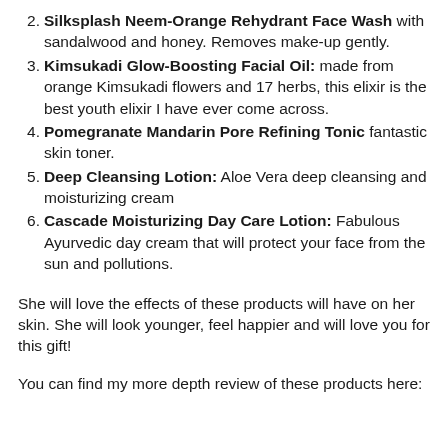2. Silksplash Neem-Orange Rehydrant Face Wash with sandalwood and honey. Removes make-up gently.
3. Kimsukadi Glow-Boosting Facial Oil: made from orange Kimsukadi flowers and 17 herbs, this elixir is the best youth elixir I have ever come across.
4. Pomegranate Mandarin Pore Refining Tonic fantastic skin toner.
5. Deep Cleansing Lotion: Aloe Vera deep cleansing and moisturizing cream
6. Cascade Moisturizing Day Care Lotion: Fabulous Ayurvedic day cream that will protect your face from the sun and pollutions.
She will love the effects of these products will have on her skin. She will look younger, feel happier and will love you for this gift!
You can find my more depth review of these products here: